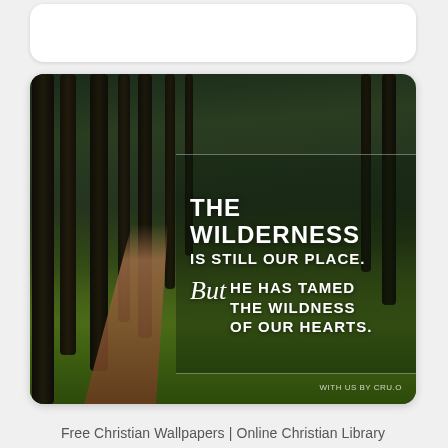[Figure (photo): Forest scene with tall dark tree trunks, lush green moss-covered ground, a dirt path winding through, with overlaid text: 'THE WILDERNESS IS STILL OUR PLACE. But HE HAS TAMED THE WILDNESS OF OUR HEARTS.' and attribution 'WITH US BY CRU.O']
Free Christian Wallpapers | Online Christian Library